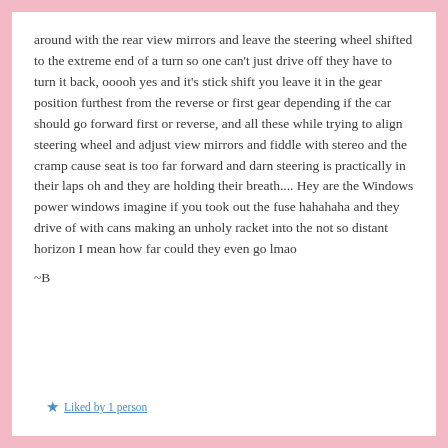around with the rear view mirrors and leave the steering wheel shifted to the extreme end of a turn so one can't just drive off they have to turn it back, ooooh yes and it's stick shift you leave it in the gear position furthest from the reverse or first gear depending if the car should go forward first or reverse, and all these while trying to align steering wheel and adjust view mirrors and fiddle with stereo and the cramp cause seat is too far forward and darn steering is practically in their laps oh and they are holding their breath.... Hey are the Windows power windows imagine if you took out the fuse hahahaha and they drive of with cans making an unholy racket into the not so distant horizon I mean how far could they even go lmao
~B
★ Liked by 1 person